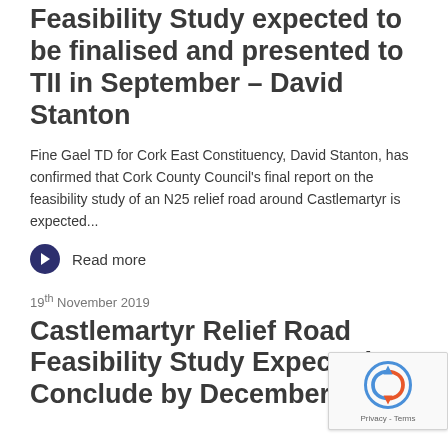Feasibility Study expected to be finalised and presented to TII in September – David Stanton
Fine Gael TD for Cork East Constituency, David Stanton, has confirmed that Cork County Council's final report on the feasibility study of an N25 relief road around Castlemartyr is expected...
Read more
19th November 2019
Castlemartyr Relief Road Feasibility Study Expected to Conclude by December 2019